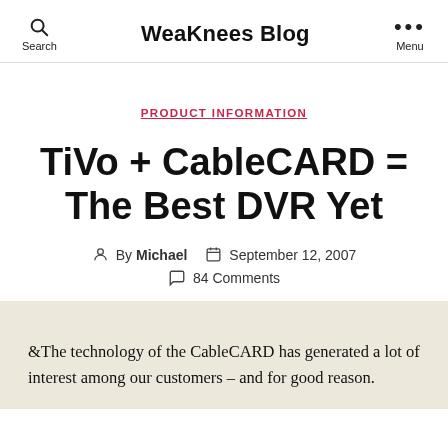WeaKnees Blog
PRODUCT INFORMATION
TiVo + CableCARD = The Best DVR Yet
By Michael  September 12, 2007  84 Comments
&The technology of the CableCARD has generated a lot of interest among our customers – and for good reason.